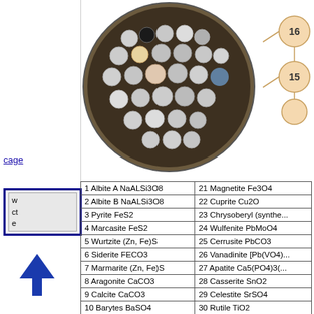[Figure (photo): Circular tray with mineral samples arranged in a grid pattern, showing various gemstones and minerals of different colors and sizes on a dark background]
[Figure (other): Partial view of a circular diagram with numbered nodes (15, 16 visible) connected by lines]
cage
w
ct
e
| 1 Albite A NaALSi3O8 | 21 Magnetite Fe3O4 |
| 2 Albite B NaALSi3O8 | 22 Cuprite Cu2O |
| 3 Pyrite FeS2 | 23 Chrysoberyl (synthe... |
| 4 Marcasite FeS2 | 24 Wulfenite PbMoO4 |
| 5 Wurtzite (Zn, Fe)S | 25 Cerrusite PbCO3 |
| 6 Siderite FECO3 | 26 Vanadinite [Pb(VO4)... |
| 7 Marmarite (Zn, Fe)S | 27 Apatite Ca5(PO4)3(... |
| 8 Aragonite CaCO3 | 28 Casserite SnO2 |
| 9 Calcite CaCO3 | 29 Celestite SrSO4 |
| 10 Barytes BaSO4 | 30 Rutile TiO2 |